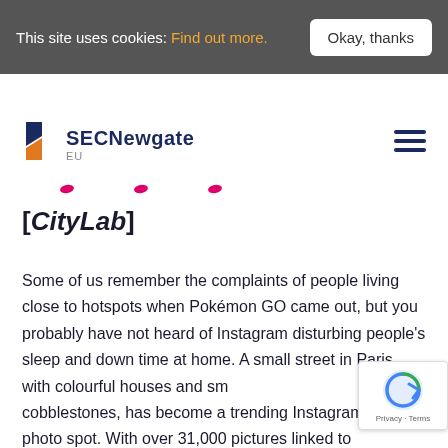This site uses cookies: Find out more.   Okay, thanks
[Figure (logo): SEC Newgate EU logo with blue and orange angular chevron icon and text 'SECNewgate EU']
[CityLab]
Some of us remember the complaints of people living close to hotspots when Pokémon GO came out, but you probably have not heard of Instagram disturbing people's sleep and down time at home. A small street in Paris, with colourful houses and small cobblestones, has become a trending Instagram photo spot. With over 31,000 pictures linked to